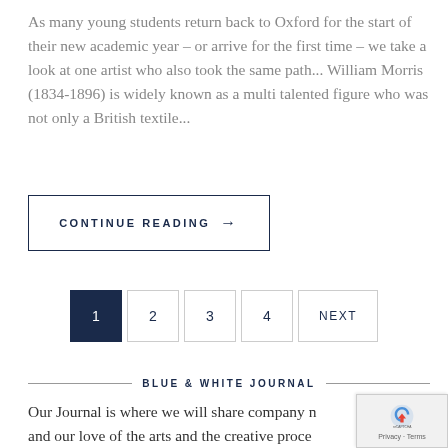As many young students return back to Oxford for the start of their new academic year – or arrive for the first time – we take a look at one artist who also took the same path... William Morris (1834-1896) is widely known as a multi talented figure who was not only a British textile...
CONTINUE READING →
1 2 3 4 NEXT
BLUE & WHITE JOURNAL
Our Journal is where we will share company n... and our love of the arts and the creative proce... We will explore how generations of artists have